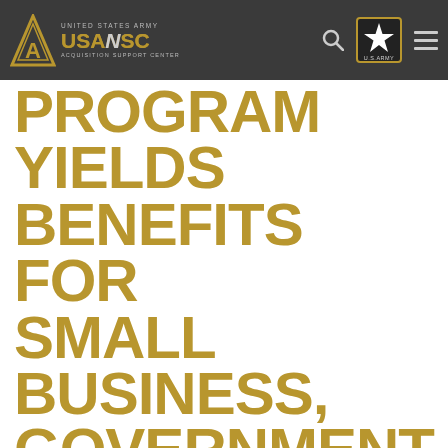UNITED STATES ARMY USAASC ACQUISITION SUPPORT CENTER
PROGRAM YIELDS BENEFITS FOR SMALL BUSINESS, GOVERNMENT
General, Logistics
By Beth Reece, Defense Logistics Agency Public Affairs FORT BELVOIR, Va. — The Defense